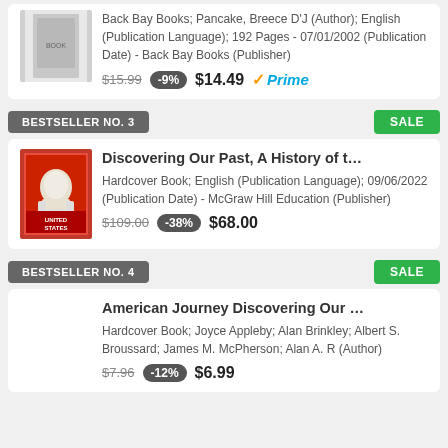[Figure (photo): Book cover thumbnail - The Stories of Breece D'J Pancake]
Back Bay Books; Pancake, Breece D'J (Author); English (Publication Language); 192 Pages - 07/01/2002 (Publication Date) - Back Bay Books (Publisher)
$15.99  -9%  $14.49  ✓Prime
BESTSELLER NO. 3
SALE
[Figure (photo): Book cover thumbnail - Discovering Our Past, A History of the United States]
Discovering Our Past, A History of t…
Hardcover Book; English (Publication Language); 09/06/2022 (Publication Date) - McGraw Hill Education (Publisher)
$109.00  -38%  $68.00
BESTSELLER NO. 4
SALE
American Journey Discovering Our …
Hardcover Book; Joyce Appleby; Alan Brinkley; Albert S. Broussard; James M. McPherson; Alan A. R (Author)
$7.96  -12%  $6.99